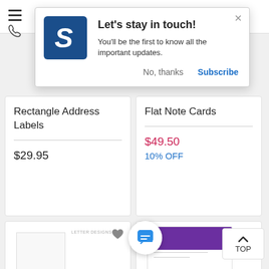[Figure (screenshot): Website header navigation bar with hamburger menu and phone icon]
[Figure (screenshot): Popup notification with blue logo icon containing letter S, title 'Let's stay in touch!', description text, and Subscribe/No thanks buttons]
Let's stay in touch!
You'll be the first to know all the important updates.
No, thanks
Subscribe
Rectangle Address Labels
$29.95
Flat Note Cards
$49.50
10% OFF
[Figure (screenshot): Product thumbnail - white notepad/letterhead product]
[Figure (screenshot): Product thumbnail - purple and white note cards with envelope]